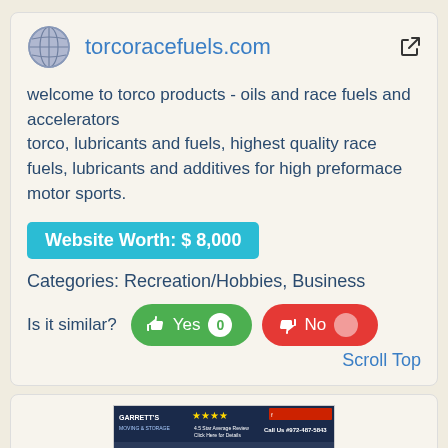torcoracefuels.com
welcome to torco products - oils and race fuels and accelerators
torco, lubricants and fuels, highest quality race fuels, lubricants and additives for high preformace motor sports.
Website Worth: $ 8,000
Categories: Recreation/Hobbies, Business
Is it similar?  Yes 0  No
Scroll Top
[Figure (screenshot): Screenshot of Garrett's Moving & Storage website showing star ratings, phone number, navigation bar, and a welcome mat image]